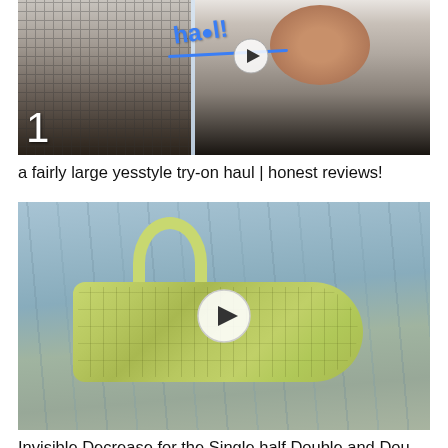[Figure (screenshot): Thumbnail image for a video titled 'a fairly large yesstyle try-on haul | honest reviews!' showing two people in clothing on the left side and a smiling woman on the right side with blue handwritten text 'haul!' and a play button icon, with number 1 in the bottom left corner]
a fairly large yesstyle try-on haul | honest reviews!
[Figure (screenshot): Thumbnail for a crochet tutorial video showing a piece of light green/yellow-green crocheted yarn work on a light blue wooden background, with a white circular play button overlay in the center]
Invisible Decrease for the Single half Double and Double...